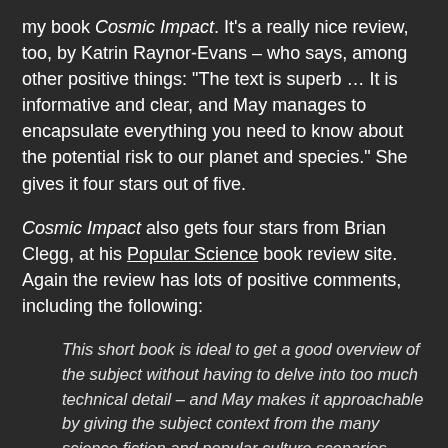my book Cosmic Impact. It's a really nice review, too, by Katrin Raynor-Evans – who says, among other positive things: "The text is superb … It is informative and clear, and May manages to encapsulate everything you need to know about the potential risk to our planet and species." She gives it four stars out of five.
Cosmic Impact also gets four stars from Brian Clegg, at his Popular Science book review site. Again the review has lots of positive comments, including the following:
This short book is ideal to get a good overview of the subject without having to delve into too much technical detail – and May makes it approachable by giving the subject context from the many science fiction and popular culture scenarios … where something hits the Earth from outer space.
Finally, although I haven't seen it myself, I'm told I got a very brief but favourable mention in New Scientist, in the